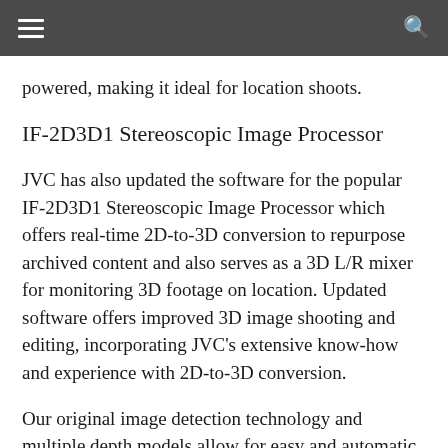≡  🔍
powered, making it ideal for location shoots.
IF-2D3D1 Stereoscopic Image Processor
JVC has also updated the software for the popular IF-2D3D1 Stereoscopic Image Processor which offers real-time 2D-to-3D conversion to repurpose archived content and also serves as a 3D L/R mixer for monitoring 3D footage on location. Updated software offers improved 3D image shooting and editing, incorporating JVC's extensive know-how and experience with 2D-to-3D conversion.
Our original image detection technology and multiple depth models allow for easy and automatic, mask-free creation of 3D effects and intricate background images. Conventional 2D-to-3D conversion technology uses